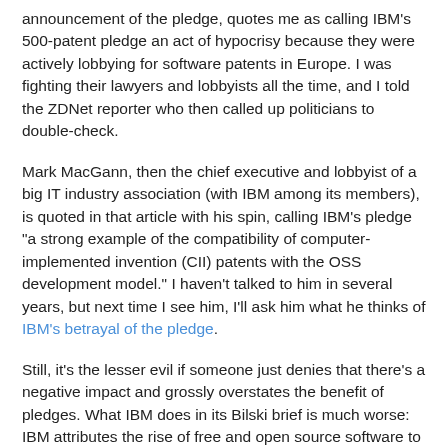announcement of the pledge, quotes me as calling IBM's 500-patent pledge an act of hypocrisy because they were actively lobbying for software patents in Europe. I was fighting their lawyers and lobbyists all the time, and I told the ZDNet reporter who then called up politicians to double-check.
Mark MacGann, then the chief executive and lobbyist of a big IT industry association (with IBM among its members), is quoted in that article with his spin, calling IBM's pledge "a strong example of the compatibility of computer-implemented invention (CII) patents with the OSS development model." I haven't talked to him in several years, but next time I see him, I'll ask him what he thinks of IBM's betrayal of the pledge.
Still, it's the lesser evil if someone just denies that there's a negative impact and grossly overstates the benefit of pledges. What IBM does in its Bilski brief is much worse: IBM attributes the rise of free and open source software to the liberating effect of software patents, which is not just wrong but turns the facts upside down.